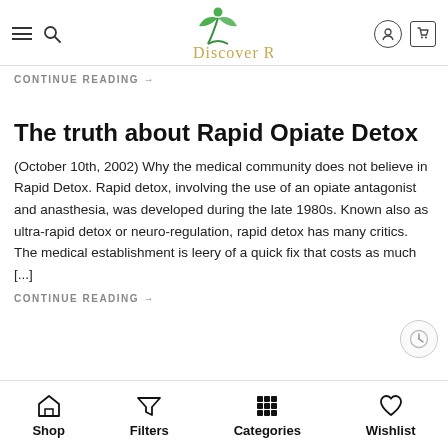[Figure (logo): Discover Root logo with green leaf person icon and gold text]
CONTINUE READING →
The truth about Rapid Opiate Detox
(October 10th, 2002) Why the medical community does not believe in Rapid Detox. Rapid detox, involving the use of an opiate antagonist and anasthesia, was developed during the late 1980s. Known also as ultra-rapid detox or neuro-regulation, rapid detox has many critics. The medical establishment is leery of a quick fix that costs as much [...]
CONTINUE READING →
Shop  Filters  Categories  Wishlist